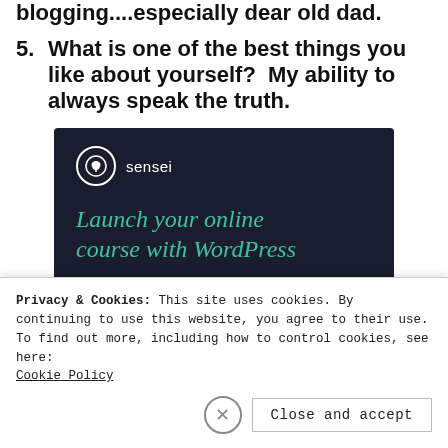blogging...especially dear old dad.
5. What is one of the best things you like about yourself?  My ability to always speak the truth.
[Figure (infographic): Sensei advertisement banner with dark navy background. Shows Sensei logo (tree icon in circle) with text 'sensei', headline 'Launch your online course with WordPress' in teal italic font, and a teal 'Learn More' button.]
Privacy & Cookies: This site uses cookies. By continuing to use this website, you agree to their use.
To find out more, including how to control cookies, see here:
Cookie Policy
Close and accept